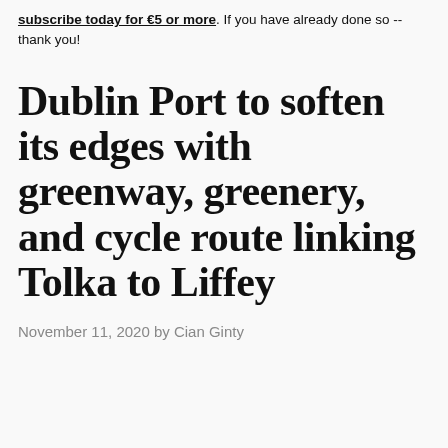subscribe today for €5 or more. If you have already done so -- thank you!
Dublin Port to soften its edges with greenway, greenery, and cycle route linking Tolka to Liffey
November 11, 2020 by Cian Ginty